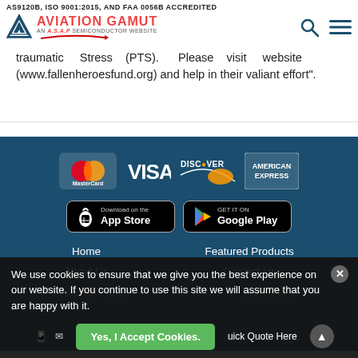AS9120B, ISO 9001:2015, AND FAA 0056B ACCREDITED
[Figure (logo): Aviation Gamut - An A.S.A.P Semiconductor Website logo with triangle icon, search icon, and menu icon]
traumatic Stress (PTS). Please visit website (www.fallenheroesfund.org) and help in their valiant effort".
[Figure (infographic): Payment method logos: MasterCard, VISA, DISCOVER, AMERICAN EXPRESS]
[Figure (infographic): App store download buttons: Download on the App Store (Apple) and GET IT ON Google Play]
Home
Featured Products
About Us
Contact Us
We use cookies to ensure that we give you the best experience on our website. If you continue to use this site we will assume that you are happy with it.